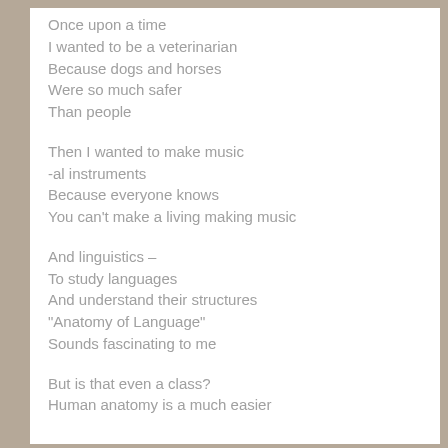Once upon a time
I wanted to be a veterinarian
Because dogs and horses
Were so much safer
Than people
Then I wanted to make music
-al instruments
Because everyone knows
You can't make a living making music
And linguistics –
To study languages
And understand their structures
“Anatomy of Language”
Sounds fascinating to me
But is that even a class?
Human anatomy is a much easier